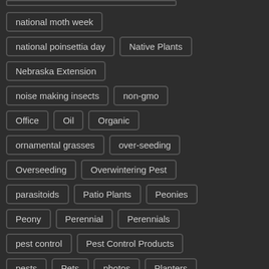national moth week
national poinsettia day
Native Plants
Nebraska Extension
noise making insects
non-gmo
Office
Oil
Organic
ornamental grasses
over-seeding
Overseeding
Overwintering Pest
parasitoids
Patio Plants
Peonies
Peony
Perennial
Perennials
pest control
Pest Control Products
pests
Pets
photos
Planters